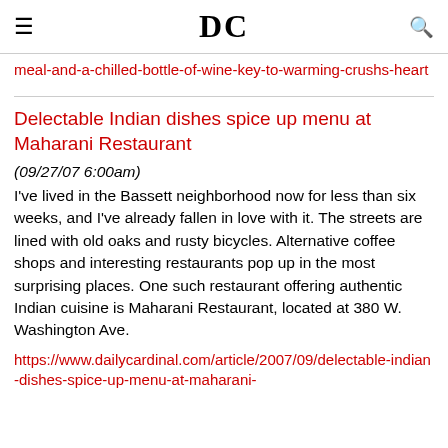DC
meal-and-a-chilled-bottle-of-wine-key-to-warming-crushs-heart
Delectable Indian dishes spice up menu at Maharani Restaurant
(09/27/07 6:00am)
I've lived in the Bassett neighborhood now for less than six weeks, and I've already fallen in love with it. The streets are lined with old oaks and rusty bicycles. Alternative coffee shops and interesting restaurants pop up in the most surprising places. One such restaurant offering authentic Indian cuisine is Maharani Restaurant, located at 380 W. Washington Ave.
https://www.dailycardinal.com/article/2007/09/delectable-indian-dishes-spice-up-menu-at-maharani-